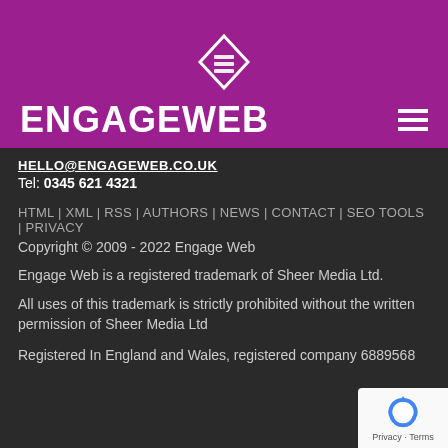[Figure (logo): EngageWeb logo with diamond/shield icon and brand name ENGAGEWEB on purple background with hamburger menu icon]
HELLO@ENGAGEWEB.CO.UK
Tel: 0345 621 4321
HTML | XML | RSS | AUTHORS | NEWS | CONTACT | SEO TOOLS | PRIVACY
Copyright © 2009 - 2022 Engage Web
Engage Web is a registered trademark of Sheer Media Ltd.
All uses of this trademark is strictly prohibited without the written permission of Sheer Media Ltd
Registered In England and Wales, registered company 6889568
[Figure (logo): Google reCAPTCHA badge with Privacy - Terms text]